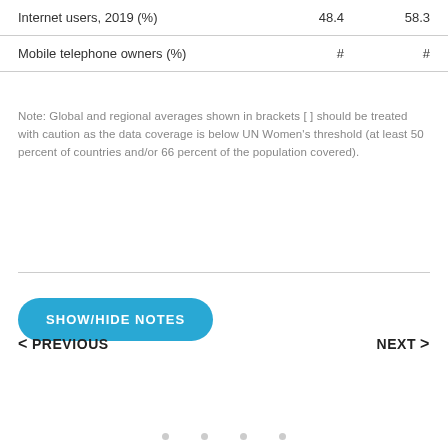|  | FEMALE | MALE |
| --- | --- | --- |
| Internet users, 2019 (%) | 48.4 | 58.3 |
| Mobile telephone owners (%) | # | # |
Note: Global and regional averages shown in brackets [ ] should be treated with caution as the data coverage is below UN Women's threshold (at least 50 percent of countries and/or 66 percent of the population covered).
SHOW/HIDE NOTES
< PREVIOUS   NEXT >